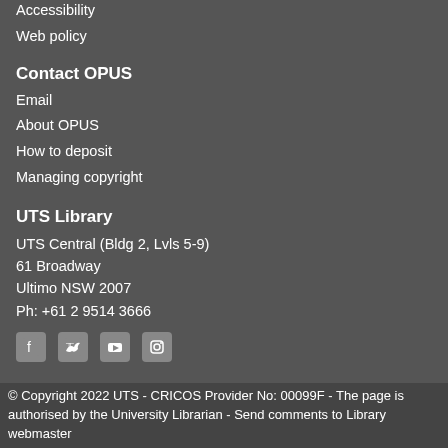Accessibility
Web policy
Contact OPUS
Email
About OPUS
How to deposit
Managing copyright
UTS Library
UTS Central (Bldg 2, Lvls 5-9)
61 Broadway
Ultimo NSW 2007
Ph: +61 2 9514 3666
[Figure (infographic): Social media icons: Facebook, Twitter, YouTube, Instagram]
© Copyright 2022 UTS - CRICOS Provider No: 00099F - The page is authorised by the University Librarian - Send comments to Library webmaster